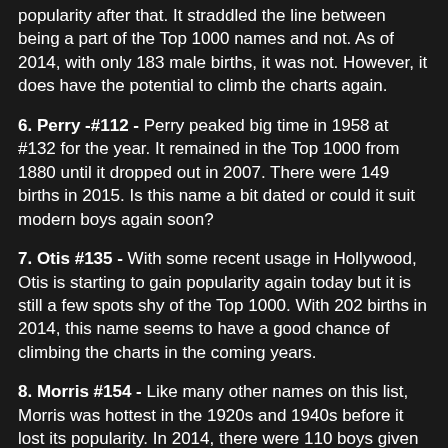popularity after that. It straddled the line between being a part of the Top 1000 names and not. As of 2014, with only 183 male births, it was not. However, it does have the potential to climb the charts again.
6. Perry -#112 - Perry peaked big time in 1958 at #132 for the year. It remained in the Top 1000 from 1880 until it dropped out in 2007. There were 149 births in 2015. Is this name a bit dated or could it suit modern boys again soon?
7. Otis #135 - With some recent usage in Hollywood, Otis is starting to gain popularity again today but it is still a few spots shy of the Top 1000. With 202 births in 2014, this name seems to have a good chance of climbing the charts in the coming years.
8. Morris #154 - Like many other names on this list, Morris was hottest in the 1920s and 1940s before it lost its popularity. In 2014, there were 110 boys given this name but it hasn't ranked in the Top 1000 since 1994. In line with all the other surname names for boys, Morris deserves more usage today.